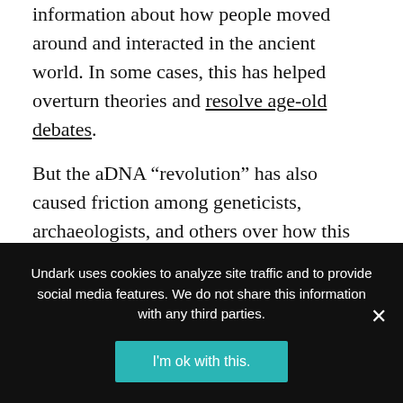information about how people moved around and interacted in the ancient world. In some cases, this has helped overturn theories and resolve age-old debates.
But the aDNA “revolution” has also caused friction among geneticists, archaeologists, and others over how this research is done. As archaeologists who collaborate on aDNA projects, we’ve witnessed these tensions firsthand. What lies at the heart of this rift, and how can these disciplines work together to better research humanity’s past?
Undark uses cookies to analyze site traffic and to provide social media features. We do not share this information with any third parties.